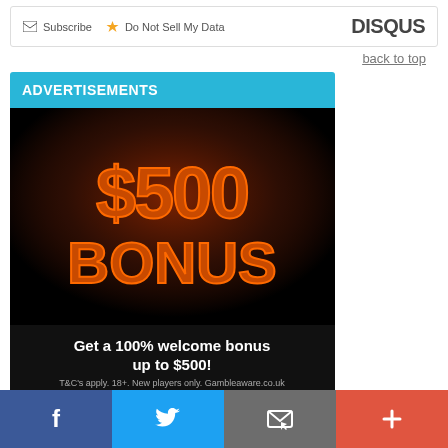[Figure (screenshot): Disqus widget bar with Subscribe and Do Not Sell My Data options, and DISQUS logo on the right]
back to top
ADVERTISEMENTS
[Figure (photo): Party Poker advertisement showing $500 BONUS flames imagery, text 'Get a 100% welcome bonus up to $500!', disclaimer 'T&C's apply. 18+. New players only. Gambleaware.co.uk', partypoker logo and More Info button]
[Figure (infographic): Social share bar with Facebook, Twitter, email/share, and plus buttons]